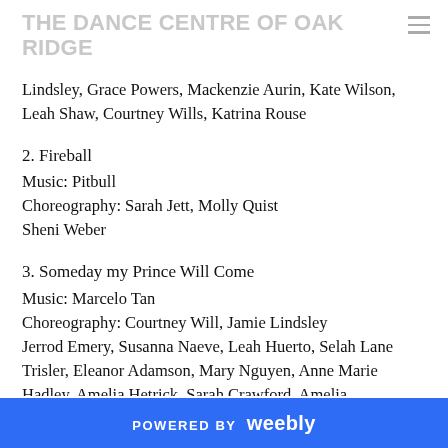THE DANCE CENTRE OF OAK RIDGE
Lindsley, Grace Powers, Mackenzie Aurin, Kate Wilson, Leah Shaw, Courtney Wills, Katrina Rouse
2. Fireball
Music: Pitbull
Choreography: Sarah Jett, Molly Quist
Sheni Weber
3. Someday my Prince Will Come
Music: Marcelo Tan
Choreography: Courtney Will, Jamie Lindsley
Jerrod Emery, Susanna Naeve, Leah Huerto, Selah Lane Trisler, Eleanor Adamson, Mary Nguyen, Anne Marie Hadley, Amelia Hetrick, Sarah Crawford, Amelia
POWERED BY weebly